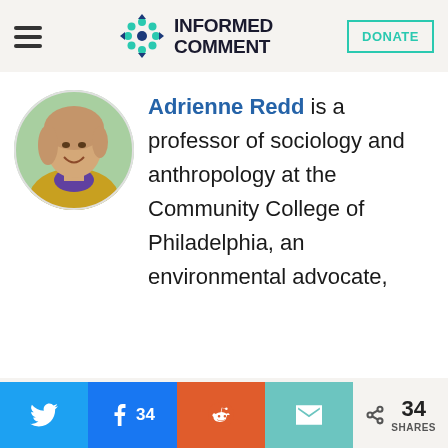INFORMED COMMENT — DONATE
[Figure (photo): Circular headshot photo of Adrienne Redd, a woman with long light brown hair, smiling, wearing a yellow/mustard jacket and colorful scarf, photographed outdoors.]
Adrienne Redd is a professor of sociology and anthropology at the Community College of Philadelphia, an environmental advocate,
Share buttons: Twitter, Facebook 34, Reddit, Email | 34 SHARES